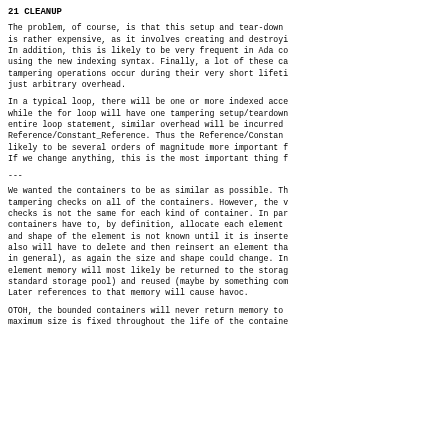21 CLEANUP
The problem, of course, is that this setup and tear-down is rather expensive, as it involves creating and destroying. In addition, this is likely to be very frequent in Ada code using the new indexing syntax. Finally, a lot of these calls, tampering operations occur during their very short lifetimes, just arbitrary overhead.
In a typical loop, there will be one or more indexed accesses while the for loop will have one tampering setup/teardown for the entire loop statement, similar overhead will be incurred for Reference/Constant_Reference. Thus the Reference/Constant_Reference is likely to be several orders of magnitude more important for performance. If we change anything, this is the most important thing to fix.
---
We wanted the containers to be as similar as possible. This means tampering checks on all of the containers. However, the weight of the checks is not the same for each kind of container. In particular, containers have to, by definition, allocate each element separately, and shape of the element is not known until it is inserted. We also will have to delete and then reinsert an element that is changed (in general), as again the size and shape could change. In that case, element memory will most likely be returned to the storage pool (the standard storage pool) and reused (maybe by something completely different). Later references to that memory will cause havoc.
OTOH, the bounded containers will never return memory to the pool — the maximum size is fixed throughout the life of the container.